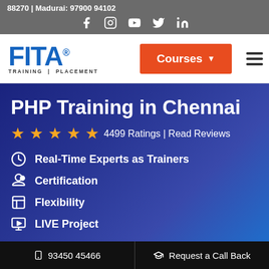88270 | Madurai: 97900 94102
[Figure (logo): FITA Training | Placement logo in blue with registered trademark symbol]
Courses ▼
PHP Training in Chennai
★★★★★ 4499 Ratings | Read Reviews
Real-Time Experts as Trainers
Certification
Flexibility
LIVE Project
📱 93450 45466 | Request a Call Back